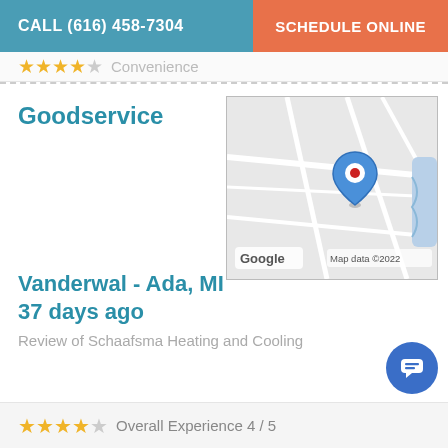CALL (616) 458-7304   SCHEDULE ONLINE
★★★★☆ Convenience
Goodservice
[Figure (map): Google Maps screenshot showing a location pin in Ada, MI area. Map data ©2022.]
Vanderwal - Ada, MI
37 days ago
Review of Schaafsma Heating and Cooling
★★★★☆ Overall Experience 4/5